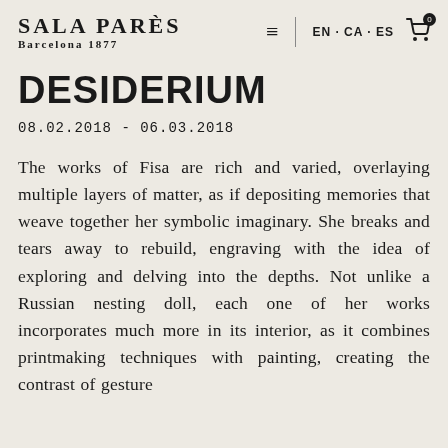SALA PARÈS BARCELONA 1877
DESIDERIUM
08.02.2018 - 06.03.2018
The works of Fisa are rich and varied, overlaying multiple layers of matter, as if depositing memories that weave together her symbolic imaginary. She breaks and tears away to rebuild, engraving with the idea of exploring and delving into the depths. Not unlike a Russian nesting doll, each one of her works incorporates much more in its interior, as it combines printmaking techniques with painting, creating the contrast of gesture